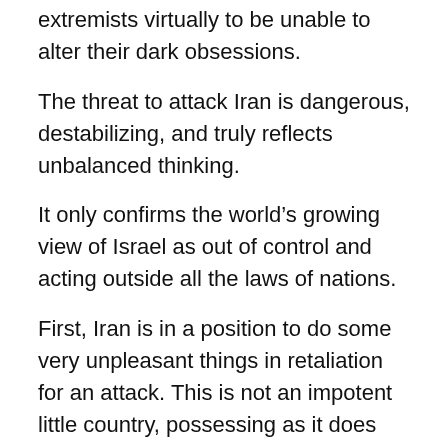extremists virtually to be unable to alter their dark obsessions.
The threat to attack Iran is dangerous, destabilizing, and truly reflects unbalanced thinking.
It only confirms the world’s growing view of Israel as out of control and acting outside all the laws of nations.
First, Iran is in a position to do some very unpleasant things in retaliation for an attack. This is not an impotent little country, possessing as it does some pretty sophisticated missiles and armaments, and it sits on one of the world’s most important arteries of commerce.
Second, it is extremely doubtful for many reasons that Israel has the capacity to carry out its threats.
Third, it is by now well-established that The Threat…